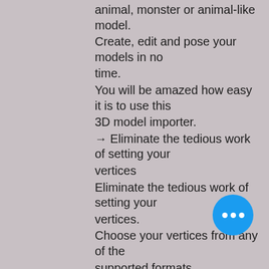animal, monster or animal-like model. Create, edit and pose your models in no time.
You will be amazed how easy it is to use this 3D model importer.
→ Eliminate the tedious work of setting your vertices
Eliminate the tedious work of setting your vertices.
Choose your vertices from any of the supported formats.
Import vertices from several file formats to start working with them immediately.
Save your current settings or undo them at any time.
You can use all standard models for World of Warcraft as well as those from several other games.
→ Use your 3D models on
What's New in the Physics Editor?
System Requirements For Physics Editor.